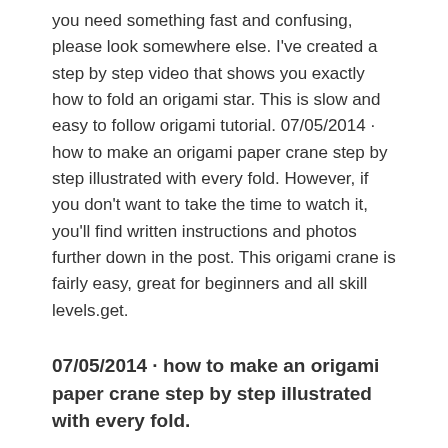you need something fast and confusing, please look somewhere else. I've created a step by step video that shows you exactly how to fold an origami star. This is slow and easy to follow origami tutorial. 07/05/2014 · how to make an origami paper crane step by step illustrated with every fold. However, if you don't want to take the time to watch it, you'll find written instructions and photos further down in the post. This origami crane is fairly easy, great for beginners and all skill levels.get.
07/05/2014 · how to make an origami paper crane step by step illustrated with every fold.
07/05/2014 · how to make an origami paper crane step by step illustrated with every fold. I've created a step by step video that shows you exactly how to fold an origami star. 31/10/2015 · how to fold an origami swan: The swan is a very simple but elegant traditional origami model that